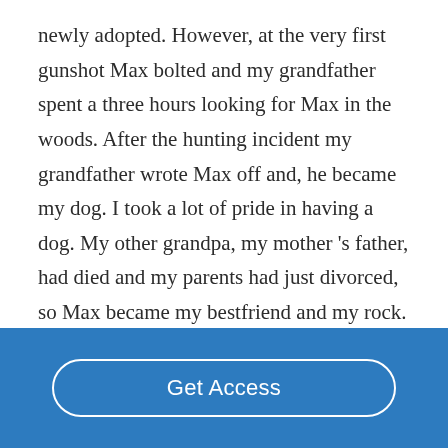newly adopted. However, at the very first gunshot Max bolted and my grandfather spent a three hours looking for Max in the woods. After the hunting incident my grandfather wrote Max off and, he became my dog. I took a lot of pride in having a dog. My other grandpa, my mother 's father, had died and my parents had just divorced, so Max became my bestfriend and my rock. I taught Max many tricks in his lifetime; one trick people
Get Access